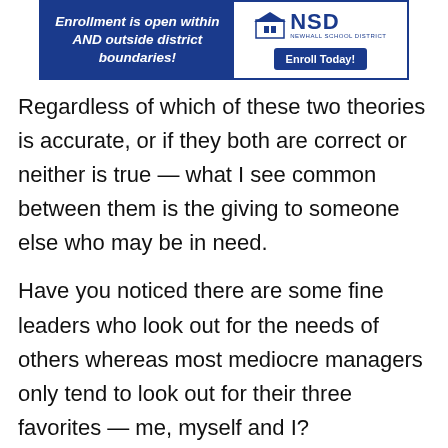[Figure (other): Advertisement banner for Newhall School District (NSD). Left side has blue background with italic bold white text: 'Enrollment is open within AND outside district boundaries!' Right side shows NSD logo and 'Enroll Today!' button.]
Regardless of which of these two theories is accurate, or if they both are correct or neither is true — what I see common between them is the giving to someone else who may be in need.
Have you noticed there are some fine leaders who look out for the needs of others whereas most mediocre managers only tend to look out for their three favorites — me, myself and I?
Leaders must have followers. Without followers, a leader isn't leading anyone—they're just wandering around aimlessly barking orders no-one else hears. It